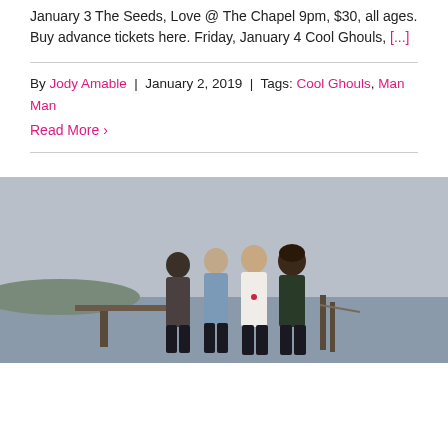January 3 The Seeds, Love @ The Chapel 9pm, $30, all ages. Buy advance tickets here. Friday, January 4 Cool Ghouls, [...]
By Jody Amable | January 2, 2019 | Tags: Cool Ghouls, Man Man
Read More ›
[Figure (photo): Four young men standing outdoors on a wooden dock or pier near the ocean, overcast sky in background.]